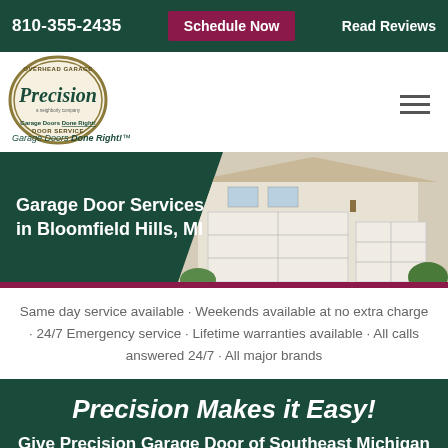810-355-2435 | Schedule Now | Read Reviews
[Figure (logo): Precision Overhead Garage Door Service logo — circular badge with 'Precision' in large text, 'Overhead Garage Door Service' around the top, tagline 'Garage Doors Done Right!']
[Figure (photo): Hero banner showing a residential home with white garage doors on the right side, dark green background on the left]
Garage Door Services in Bloomfield Hills, MI
Same day service available · Weekends available at no extra charge · 24/7 Emergency service · Lifetime warranties available · All calls answered 24/7 · All major brands
Precision Makes it Easy!
Give Precision Garage Door of Southeast Michigan a call anytime so we can get to work for you!